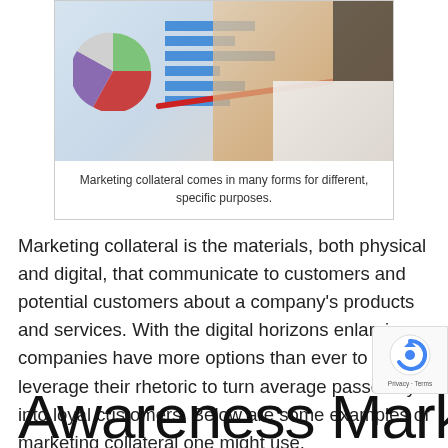[Figure (photo): Photo of hands pointing at marketing charts on paper, showing a pie chart and bar chart with blue bars, with red pen visible.]
Marketing collateral comes in many forms for different, specific purposes.
Marketing collateral is the materials, both physical and digital, that communicate to customers and potential customers about a company's products and services. With the digital horizons enlarging, companies have more options than ever to leverage their rhetoric to turn average passersby into loyal customers. Below are some examples of marketing collateral one might use.
Awareness Marketing